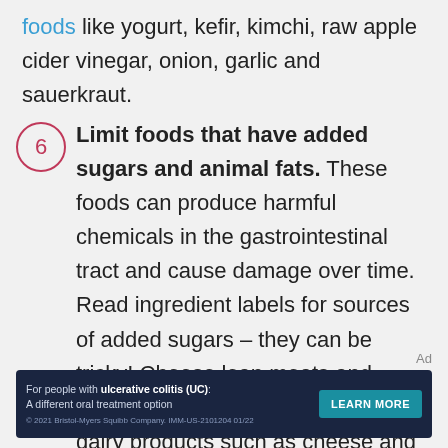foods like yogurt, kefir, kimchi, raw apple cider vinegar, onion, garlic and sauerkraut.
6 — Limit foods that have added sugars and animal fats. These foods can produce harmful chemicals in the gastrointestinal tract and cause damage over time. Read ingredient labels for sources of added sugars – they can be tricky! Choose lean meats and poultry without skin. Limit high-fat dairy products such as cheese and
Ad
For people with ulcerative colitis (UC): A different oral treatment option. © 2021 Bristol-Myers Squibb Company. IMM-US-2101204 01/22